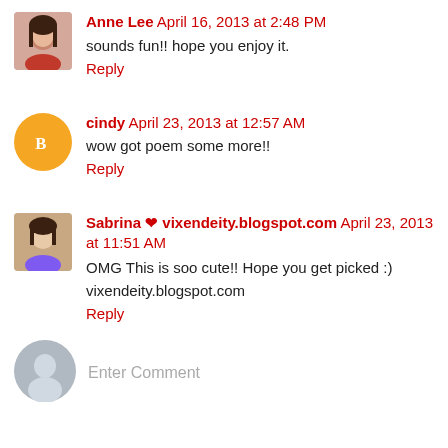[Figure (photo): Avatar photo of Anne Lee, a young woman with long dark hair]
Anne Lee April 16, 2013 at 2:48 PM
sounds fun!! hope you enjoy it.
Reply
[Figure (illustration): Orange circle with white Blogger 'b' logo icon for user cindy]
cindy April 23, 2013 at 12:57 AM
wow got poem some more!!
Reply
[Figure (photo): Avatar photo of Sabrina, a young woman smiling]
Sabrina ❤ vixendeity.blogspot.com April 23, 2013 at 11:51 AM
OMG This is soo cute!! Hope you get picked :)
vixendeity.blogspot.com
Reply
[Figure (illustration): Gray circle with silhouette person icon for Enter Comment input]
Enter Comment